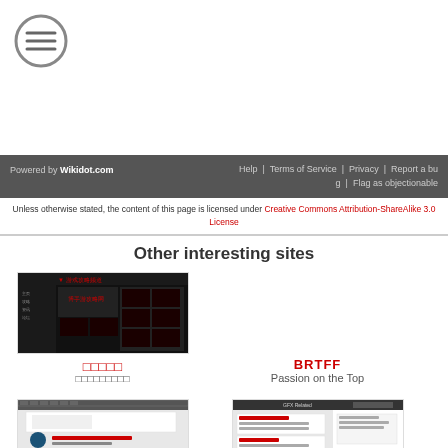[Figure (logo): Hamburger menu icon - circle with three horizontal lines]
Powered by Wikidot.com | Help | Terms of Service | Privacy | Report a bug | Flag as objectionable
Unless otherwise stated, the content of this page is licensed under Creative Commons Attribution-ShareAlike 3.0 License
Other interesting sites
[Figure (screenshot): Screenshot of a Chinese website with dark theme]
□□□□□ □□□□□□□□□
BRTFF
Passion on the Top
[Figure (screenshot): Screenshot of another website with lighter theme]
[Figure (screenshot): Screenshot of GFX Related website]